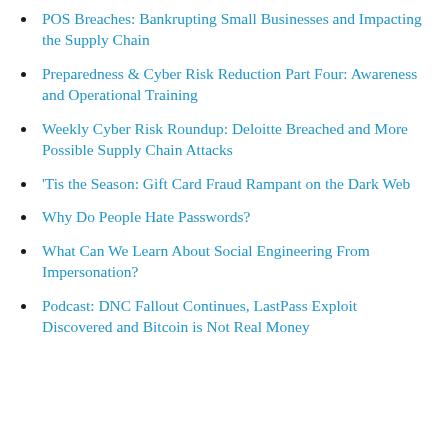POS Breaches: Bankrupting Small Businesses and Impacting the Supply Chain
Preparedness & Cyber Risk Reduction Part Four: Awareness and Operational Training
Weekly Cyber Risk Roundup: Deloitte Breached and More Possible Supply Chain Attacks
'Tis the Season: Gift Card Fraud Rampant on the Dark Web
Why Do People Hate Passwords?
What Can We Learn About Social Engineering From Impersonation?
Podcast: DNC Fallout Continues, LastPass Exploit Discovered and Bitcoin is Not Real Money